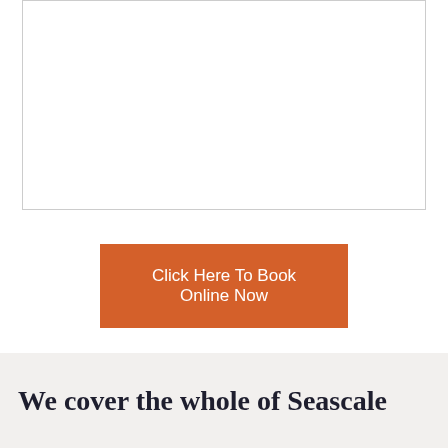[Figure (other): White rectangular box with border, likely containing an image or map placeholder]
Click Here To Book Online Now
We cover the whole of Seascale